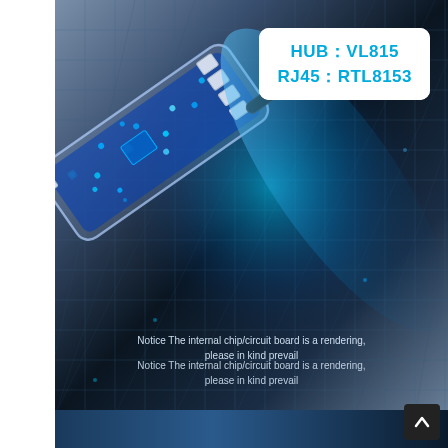[Figure (photo): A transparent USB hub device with visible internal circuit board illuminated by blue LED lights, showing USB 3.0 ports and RJ45 connector, with a black cable attached. The device is shown on a dark blue grid background.]
HUB: VL815
RJ45: RTL8153
Notice The internal chip/circuit board is a rendering, please in kind prevail